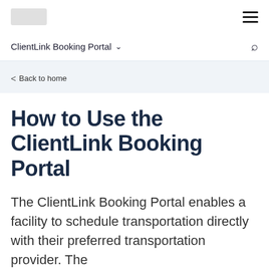ClientLink Booking Portal
Back to home
How to Use the ClientLink Booking Portal
The ClientLink Booking Portal enables a facility to schedule transportation directly with their preferred transportation provider. The